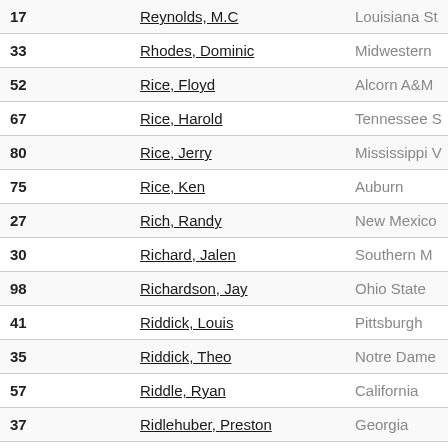| # | Name | School |
| --- | --- | --- |
| 17 | Reynolds, M.C | Louisiana St |
| 33 | Rhodes, Dominic | Midwestern |
| 52 | Rice, Floyd | Alcorn A&M |
| 67 | Rice, Harold | Tennessee S |
| 80 | Rice, Jerry | Mississippi V |
| 75 | Rice, Ken | Auburn |
| 27 | Rich, Randy | New Mexico |
| 30 | Richard, Jalen | Southern M |
| 98 | Richardson, Jay | Ohio State |
| 41 | Riddick, Louis | Pittsburgh |
| 35 | Riddick, Theo | Notre Dame |
| 57 | Riddle, Ryan | California |
| 37 | Ridlehuber, Preston | Georgia |
| 77 | Riehm, Chris | Ohio State |
| 32, 48 | Rieves, Charles | Houston |